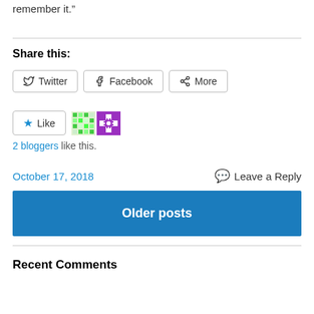remember it.”
Share this:
Twitter  Facebook  More
Like  [avatars]
2 bloggers like this.
October 17, 2018    Leave a Reply
Older posts
Recent Comments